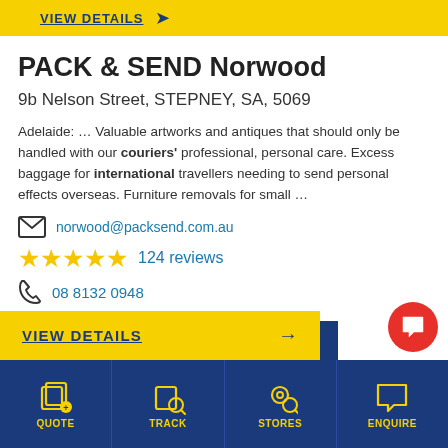PACK & SEND Norwood
9b Nelson Street, STEPNEY, SA, 5069
Adelaide: … Valuable artworks and antiques that should only be handled with our couriers' professional, personal care. Excess baggage for international travellers needing to send personal effects overseas. Furniture removals for small …
norwood@packsend.com.au
124 reviews
08 8132 0948
GET QUOTE
VIEW DETAILS